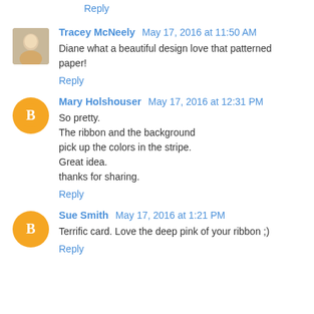Reply
Tracey McNeely  May 17, 2016 at 11:50 AM
Diane what a beautiful design love that patterned paper!
Reply
Mary Holshouser  May 17, 2016 at 12:31 PM
So pretty.
The ribbon and the background
pick up the colors in the stripe.
Great idea.
thanks for sharing.
Reply
Sue Smith  May 17, 2016 at 1:21 PM
Terrific card. Love the deep pink of your ribbon ;)
Reply